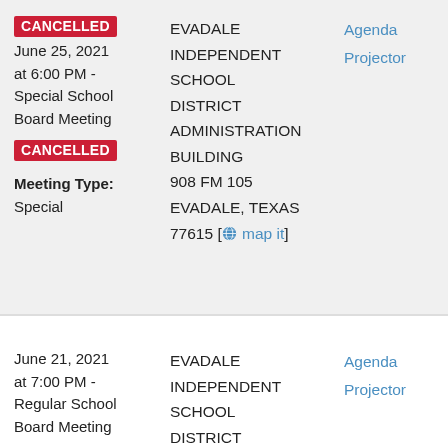CANCELLED
June 25, 2021 at 6:00 PM - Special School Board Meeting
CANCELLED
Meeting Type: Special
EVADALE INDEPENDENT SCHOOL DISTRICT ADMINISTRATION BUILDING
908 FM 105
EVADALE, TEXAS 77615 [map it]
Agenda
Projector
June 21, 2021 at 7:00 PM - Regular School Board Meeting
Meeting Type: Regular
EVADALE INDEPENDENT SCHOOL DISTRICT ADMINISTRATION BUILDING
908 FM 105
EVADALE, TEXAS
Agenda
Projector